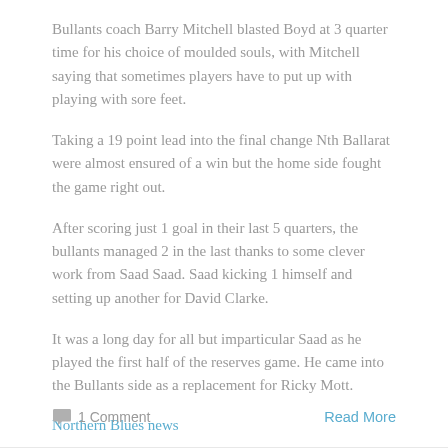Bullants coach Barry Mitchell blasted Boyd at 3 quarter time for his choice of moulded souls, with Mitchell saying that sometimes players have to put up with playing with sore feet.
Taking a 19 point lead into the final change Nth Ballarat were almost ensured of a win but the home side fought the game right out.
After scoring just 1 goal in their last 5 quarters, the bullants managed 2 in the last thanks to some clever work from Saad Saad. Saad kicking 1 himself and setting up another for David Clarke.
It was a long day for all but imparticular Saad as he played the first half of the reserves game. He came into the Bullants side as a replacement for Ricky Mott.
Northern Blues news
1 Comment
Read More